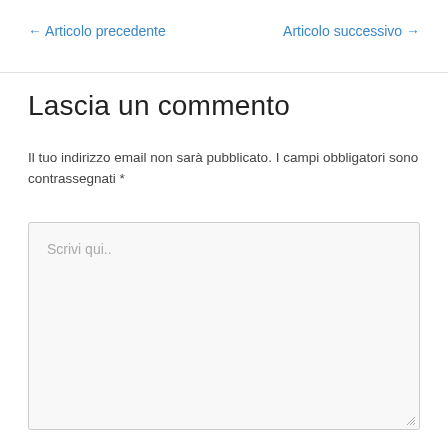← Articolo precedente
Articolo successivo →
Lascia un commento
Il tuo indirizzo email non sarà pubblicato. I campi obbligatori sono contrassegnati *
Scrivi qui..